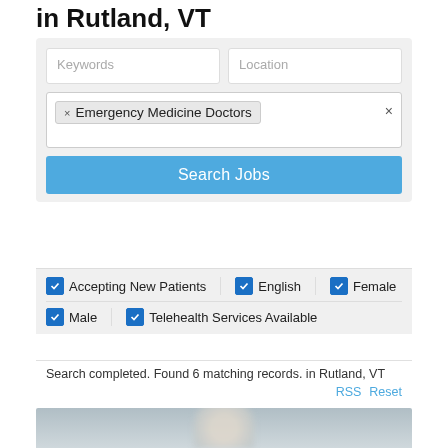in Rutland, VT
[Figure (screenshot): Search form with Keywords and Location input fields, an 'Emergency Medicine Doctors' tag pill, and a blue 'Search Jobs' button.]
Accepting New Patients  English  Female  Male  Telehealth Services Available
Search completed. Found 6 matching records. in Rutland, VT
RSS  Reset
[Figure (photo): Blurred photo of a person from the shoulder up against a grey background.]